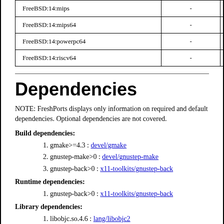|  |  |  |
| --- | --- | --- |
| FreeBSD:14:mips | - | - |
| FreeBSD:14:mips64 | - | - |
| FreeBSD:14:powerpc64 | - | - |
| FreeBSD:14:riscv64 | - | - |
Dependencies
NOTE: FreshPorts displays only information on required and default dependencies. Optional dependencies are not covered.
Build dependencies:
gmake>=4.3 : devel/gmake
gnustep-make>0 : devel/gnustep-make
gnustep-back>0 : x11-toolkits/gnustep-back
Runtime dependencies:
gnustep-back>0 : x11-toolkits/gnustep-back
Library dependencies:
libobjc.so.4.6 : lang/libobjc2
This port is required by: